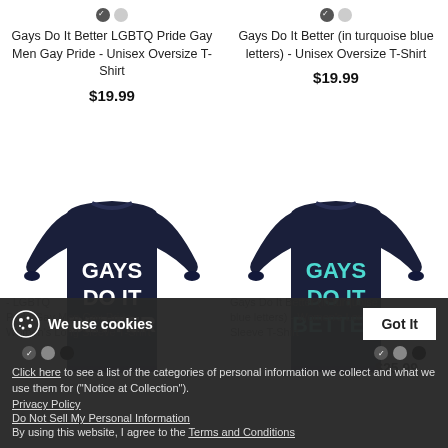[Figure (screenshot): E-commerce product listing page showing two navy long-sleeve shirts with 'GAYS DO IT BETTER' text, cookie consent overlay at bottom]
Gays Do It Better LGBTQ Pride Gay Men Gay Pride - Unisex Oversize T-Shirt
$19.99
Gays Do It Better (in turquoise blue letters) - Unisex Oversize T-Shirt
$19.99
We use cookies
Click here to see a list of the categories of personal information we collect and what we use them for ("Notice at Collection").
Privacy Policy
Do Not Sell My Personal Information
By using this website, I agree to the Terms and Conditions
Got It
Pride Gay Men Gay Pride - Women's Long Sleeve T-Shirt
blue letters) - Women's Long Sleeve T-Shirt
$25.99